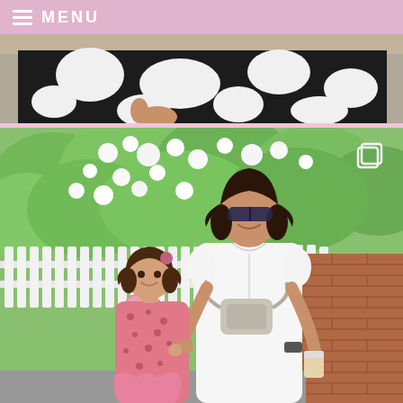≡ MENU
[Figure (photo): Partial view of a person wearing a black and white patterned garment, cropped at mid-body, with a sandy/neutral background at the top]
[Figure (photo): A woman wearing a white maxi dress with sunglasses and a grey fanny pack, standing next to a young girl in a pink floral dress. They are on a brick sidewalk in front of a white picket fence with white flowering bushes. The woman holds the child's hand and carries a drink. An Instagram copy/gallery icon is visible in the top right of the photo.]